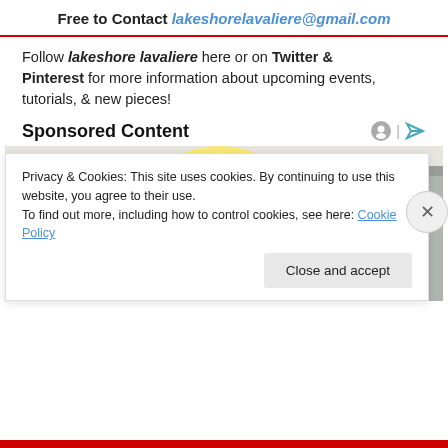Free to Contact lakeshorelavaliere@gmail.com
Follow lakeshore lavaliere here or on Twitter & Pinterest for more information about upcoming events, tutorials, & new pieces!
Sponsored Content
[Figure (photo): Photo of a blonde woman in a yellow sweater looking downward, with plants in the background.]
Privacy & Cookies: This site uses cookies. By continuing to use this website, you agree to their use.
To find out more, including how to control cookies, see here: Cookie Policy